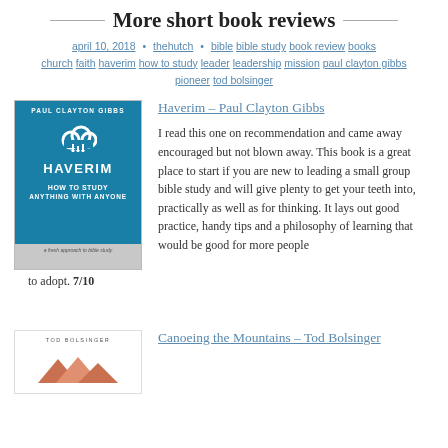More short book reviews
april 10, 2018 • thehutch • bible bible study book review books church faith haverim how to study leader leadership mission paul clayton gibbs pioneer tod bolsinger
[Figure (illustration): Book cover of 'Haverim – How to Study Anything with Anyone' by Paul Clayton Gibbs. Blue background with cloud icon and bold white text.]
Haverim – Paul Clayton Gibbs
I read this one on recommendation and came away encouraged but not blown away. This book is a great place to start if you are new to leading a small group bible study and will give plenty to get your teeth into, practically as well as for thinking. It lays out good practice, handy tips and a philosophy of learning that would be good for more people to adopt. 7/10
[Figure (illustration): Book cover of 'Canoeing the Mountains' by Tod Bolsinger. White background with mountain/canoe graphic.]
Canoeing the Mountains – Tod Bolsinger